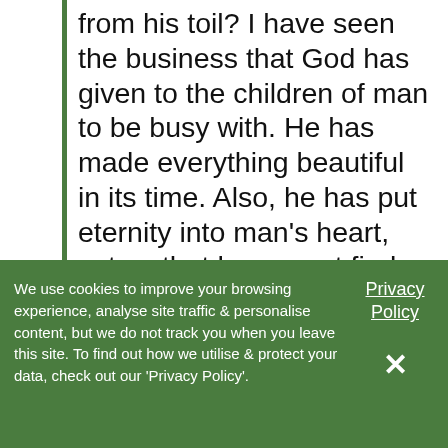from his toil? I have seen the business that God has given to the children of man to be busy with. He has made everything beautiful in its time. Also, he has put eternity into man's heart, yet so that he cannot find out what God has done from the beginning to the end. I perceived that there is nothing better for them than to be joyful and to do good as long as they live; also that everyone should eat and drink and take pleasure in all his toil—this is God's gift to man.
[Figure (photo): Partial image strip showing dark brown and grey tones with a circular icon visible at the bottom left]
We use cookies to improve your browsing experience, analyse site traffic & personalise content, but we do not track you when you leave this site. To find out how we utilise & protect your data, check out our 'Privacy Policy'.